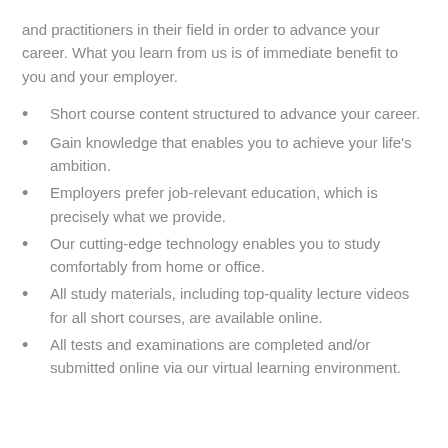and practitioners in their field in order to advance your career. What you learn from us is of immediate benefit to you and your employer.
Short course content structured to advance your career.
Gain knowledge that enables you to achieve your life's ambition.
Employers prefer job-relevant education, which is precisely what we provide.
Our cutting-edge technology enables you to study comfortably from home or office.
All study materials, including top-quality lecture videos for all short courses, are available online.
All tests and examinations are completed and/or submitted online via our virtual learning environment.